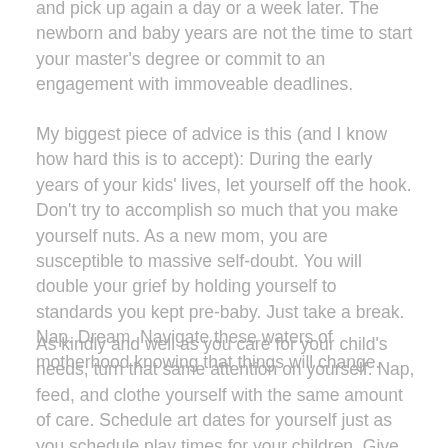and pick up again a day or a week later. The newborn and baby years are not the time to start your master's degree or commit to an engagement with immoveable deadlines.
My biggest piece of advice is this (and I know how hard this is to accept): During the early years of your kids' lives, let yourself off the hook. Don't try to accomplish so much that you make yourself nuts. As a new mom, you are susceptible to massive self-doubt. You will double your grief by holding yourself to standards you kept pre-baby. Just take a break. Nap. Dream. Navigate these waters of motherhood knowing that things will change.
As kindly and well as you care for your child's needs, turn that same attention on yourself. Nap, feed, and clothe yourself with the same amount of care. Schedule art dates for yourself just as you schedule play times for your children. Give some of that tenderness and nurturance to